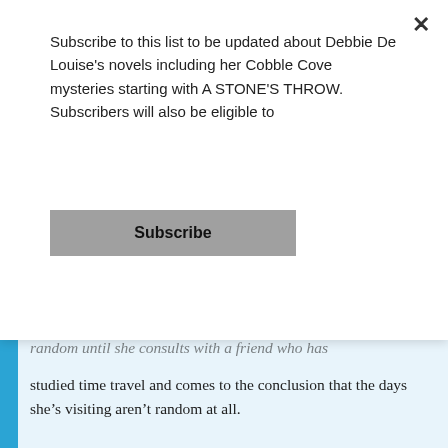Subscribe to this list to be updated about Debbie De Louise's novels including her Cobble Cove mysteries starting with A STONE'S THROW. Subscribers will also be eligible to
Subscribe
random until she consults with a friend who has studied time travel and comes to the conclusion that the days she’s visiting aren’t random at all. They’re connected to the event she witnessed of her son killing a man named Joseph Jones. But where are they leading her, and what must she learn from this strange experience?
As Jen travels back in time, she learns more about her son, husband, and the man called Joseph Jones. More importantly, she faces her